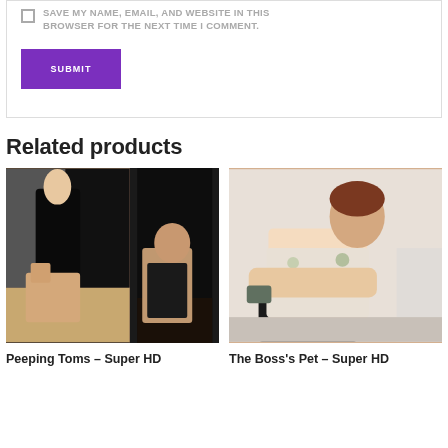SAVE MY NAME, EMAIL, AND WEBSITE IN THIS BROWSER FOR THE NEXT TIME I COMMENT.
SUBMIT
Related products
[Figure (photo): Two-panel collage of a dominatrix scene]
Peeping Toms – Super HD
[Figure (photo): Woman in floral dress seated on chair with legs up]
The Boss’s Pet – Super HD